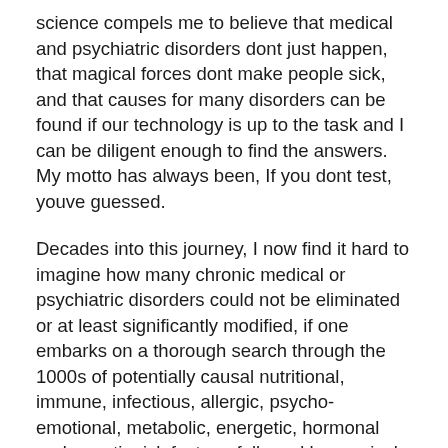science compels me to believe that medical and psychiatric disorders dont just happen, that magical forces dont make people sick, and that causes for many disorders can be found if our technology is up to the task and I can be diligent enough to find the answers. My motto has always been, If you dont test, youve guessed.
Decades into this journey, I now find it hard to imagine how many chronic medical or psychiatric disorders could not be eliminated or at least significantly modified, if one embarks on a thorough search through the 1000s of potentially causal nutritional, immune, infectious, allergic, psycho-emotional, metabolic, energetic, hormonal and genetic risk factors, followed by precisely targeted treatments designed to address each causal risk factor. It does not matter what other kind of healthcare treatment you use, integrative, holistic, psychotherapeutic or conventional, or what kind of medical or psychiatric challenge you face. Finding and correcting the root molecular causes can only improve your outcomes.